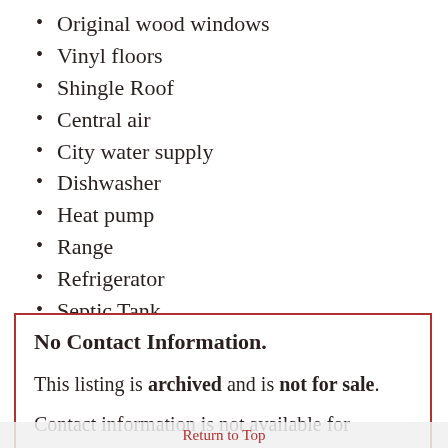Original wood windows
Vinyl floors
Shingle Roof
Central air
City water supply
Dishwasher
Heat pump
Range
Refrigerator
Septic Tank
Water Heater - Electric
Easy access to attic storage.
Original hardwood floors.
Some original glass door knobs.
No Contact Information.
This listing is archived and is not for sale.
Contact information is not available for